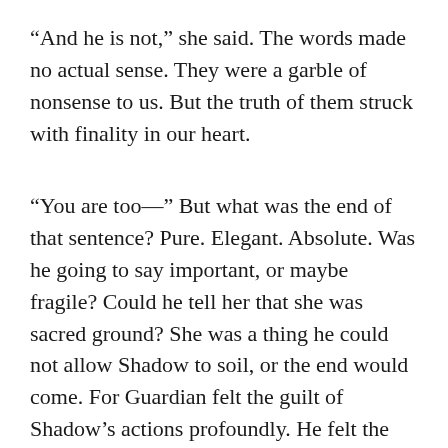“And he is not,” she said. The words made no actual sense. They were a garble of nonsense to us. But the truth of them struck with finality in our heart.
“You are too—” But what was the end of that sentence? Pure. Elegant. Absolute. Was he going to say important, or maybe fragile? Could he tell her that she was sacred ground? She was a thing he could not allow Shadow to soil, or the end would come. For Guardian felt the guilt of Shadow’s actions profoundly. He felt the utter despair of every barb that Shadow threw. If Shadow caused him to hurt Truth, would the grief of it claim Guardian’s life? He had no way of finishing the sentence. He could only look at her, standing there